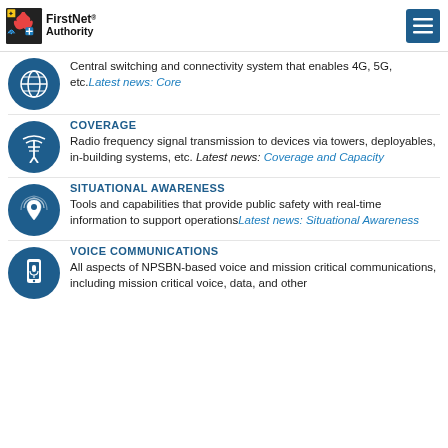FirstNet Authority
Central switching and connectivity system that enables 4G, 5G, etc. Latest news: Core
COVERAGE
Radio frequency signal transmission to devices via towers, deployables, in-building systems, etc. Latest news: Coverage and Capacity
SITUATIONAL AWARENESS
Tools and capabilities that provide public safety with real-time information to support operations Latest news: Situational Awareness
VOICE COMMUNICATIONS
All aspects of NPSBN-based voice and mission critical communications, including mission critical voice, data, and other Latest news: Voice Communications